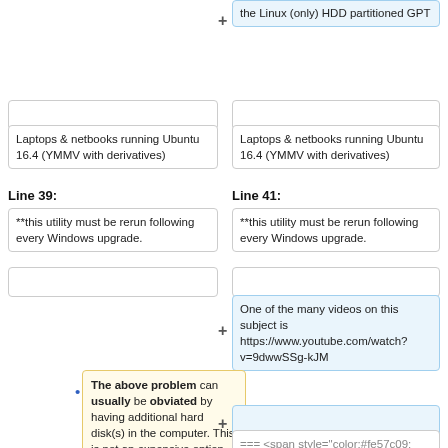the Linux (only) HDD partitioned GPT
Laptops & netbooks running Ubuntu 16.4 (YMMV with derivatives)
Laptops & netbooks running Ubuntu 16.4 (YMMV with derivatives)
Line 39:
Line 41:
**this utility must be rerun following every Windows upgrade.
**this utility must be rerun following every Windows upgrade.
One of the many videos on this subject is https://www.youtube.com/watch?v=9dwwSSg-kJM
The above problem can usually be obviated by having additional hard disk(s) in the computer. This is not an expensive option, given current HDD prices.
=== <span style="color:#fe57c09;